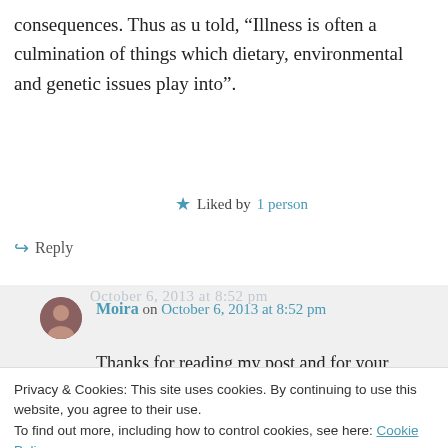consequences. Thus as u told, “Illness is often a culmination of things which dietary, environmental and genetic issues play into”.
★ Liked by 1 person
↳ Reply
Moira on October 6, 2013 at 8:52 pm
Thanks for reading my post and for your comment! It’s true some of us are
Privacy & Cookies: This site uses cookies. By continuing to use this website, you agree to their use.
To find out more, including how to control cookies, see here: Cookie Policy
Close and accept
my knowledge, I’m not predisposed to any